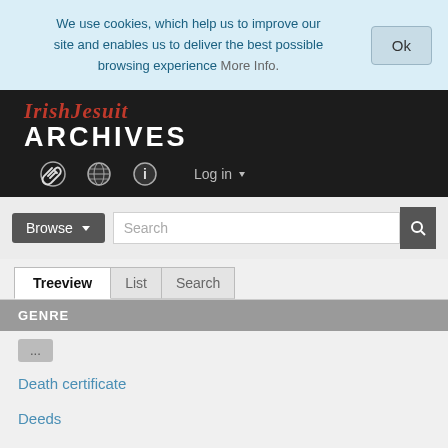We use cookies, which help us to improve our site and enables us to deliver the best possible browsing experience More Info.
[Figure (screenshot): IrishJesuit Archives website navigation screenshot showing logo, nav icons, browse/search bar, treeview tabs, and GENRE list with Death certificate, Deeds, Diary, Diploma items]
IrishJesuit ARCHIVES
Browse Search Treeview List Search GENRE ... Death certificate Deeds Diary Diploma